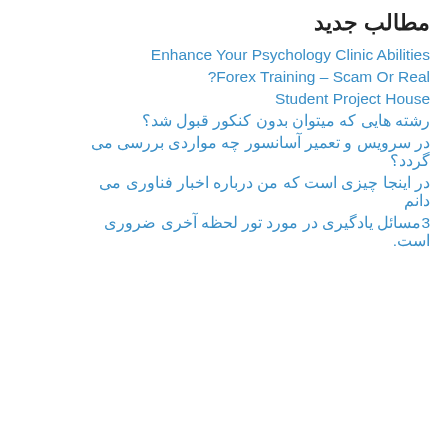مطالب جدید
Enhance Your Psychology Clinic Abilities
Forex Training – Scam Or Real?
Student Project House
رشته هایی که میتوان بدون کنکور قبول شد؟
در سرویس و تعمیر آسانسور چه مواردی بررسی می گردد؟
در اینجا چیزی است که من درباره اخبار فناوری می دانم
3مسائل یادگیری در مورد تور لحظه آخری ضروری است.